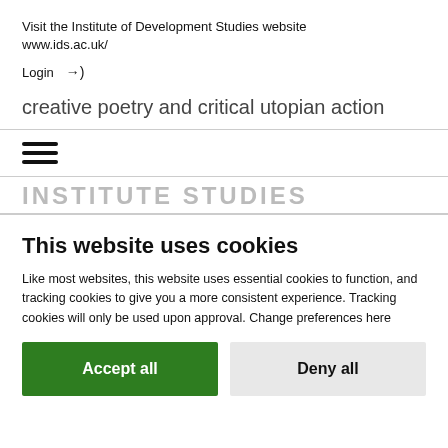Visit the Institute of Development Studies website www.ids.ac.uk/
Login →)
creative poetry and critical utopian action
[Figure (illustration): Hamburger menu icon with three horizontal lines]
INSTITUTE STUDIES (partially visible logo text)
This website uses cookies
Like most websites, this website uses essential cookies to function, and tracking cookies to give you a more consistent experience. Tracking cookies will only be used upon approval. Change preferences here
Accept all
Deny all